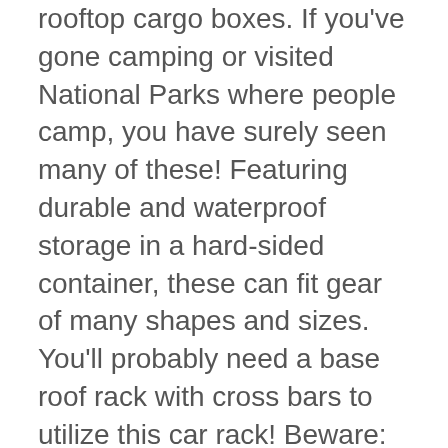rooftop cargo boxes. If you've gone camping or visited National Parks where people camp, you have surely seen many of these! Featuring durable and waterproof storage in a hard-sided container, these can fit gear of many shapes and sizes. You'll probably need a base roof rack with cross bars to utilize this car rack! Beware: they can get pricey. One example of a rooftop cargo box? Summit Racing SUM-995000 – Summit Racing™ Roof Cargo Boxes
Rooftop Cargo Bags – Picture a rooftop cargo box, but instead of a hard-sided container it's a soft-sided